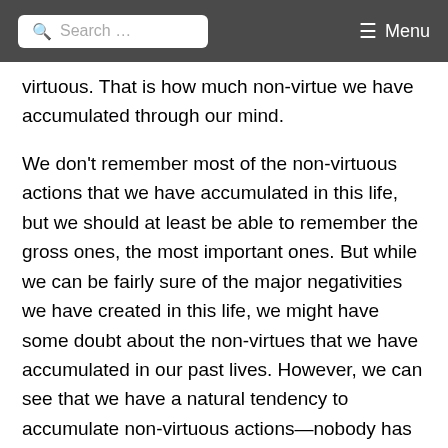Search ... Menu
virtuous. That is how much non-virtue we have accumulated through our mind.
We don't remember most of the non-virtuous actions that we have accumulated in this life, but we should at least be able to remember the gross ones, the most important ones. But while we can be fairly sure of the major negativities we have created in this life, we might have some doubt about the non-virtues that we have accumulated in our past lives. However, we can see that we have a natural tendency to accumulate non-virtuous actions—nobody has to teach us and we don't have to make any effort to learn them. Very naturally and spontaneously we accumulate many non-virtuous actions. This inherent